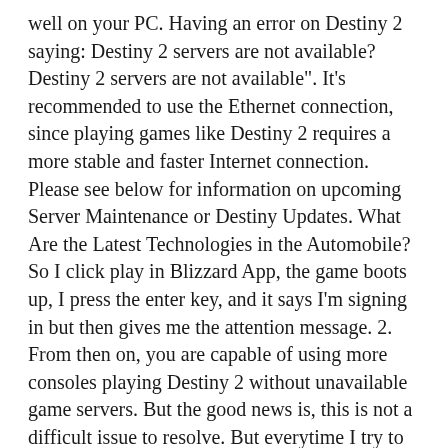well on your PC. Having an error on Destiny 2 saying: Destiny 2 servers are not available? Destiny 2 servers are not available". It's recommended to use the Ethernet connection, since playing games like Destiny 2 requires a more stable and faster Internet connection. Please see below for information on upcoming Server Maintenance or Destiny Updates. What Are the Latest Technologies in the Automobile? So I click play in Blizzard App, the game boots up, I press the enter key, and it says I'm signing in but then gives me the attention message. 2. From then on, you are capable of using more consoles playing Destiny 2 without unavailable game servers. But the good news is, this is not a difficult issue to resolve. But everytime I try to log in I get a message after about a minute of it trying to connect saying the Destiny 2 servers are not available? 2. If you're connecting via WiFi, you're more likely to have the servers not available error in Destiny 2. If your network gets corrupted, you might also encounter Destiny 2 servers unavailable issue. In addition, the network problems in your computer can also result in the error.